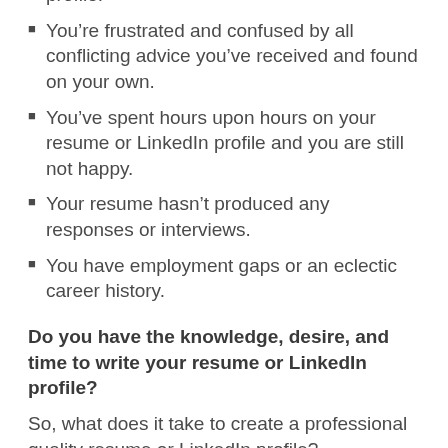profile.
You're frustrated and confused by all conflicting advice you've received and found on your own.
You've spent hours upon hours on your resume or LinkedIn profile and you are still not happy.
Your resume hasn't produced any responses or interviews.
You have employment gaps or an eclectic career history.
Do you have the knowledge, desire, and time to write your resume or LinkedIn profile?
So, what does it take to create a professional quality resume or LinkedIn profile?
Knowledge: Resume and LinkedIn profile